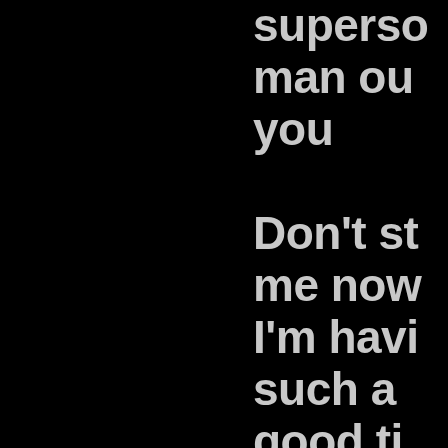superso man out you Don't st me now I'm havi such a good ti I'm havi a ball Don't st me now If you wanna have a good ti